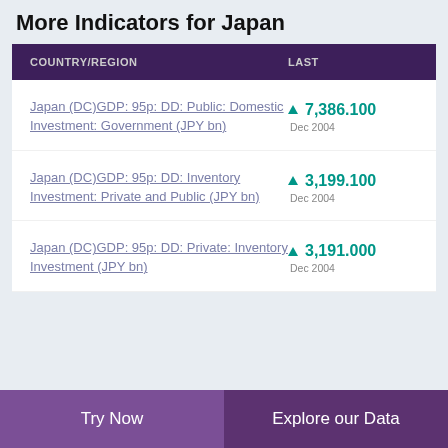More Indicators for Japan
| COUNTRY/REGION | LAST |
| --- | --- |
| Japan (DC)GDP: 95p: DD: Public: Domestic Investment: Government (JPY bn) | ▲ 7,386.100 Dec 2004 |
| Japan (DC)GDP: 95p: DD: Inventory Investment: Private and Public (JPY bn) | ▲ 3,199.100 Dec 2004 |
| Japan (DC)GDP: 95p: DD: Private: Inventory Investment (JPY bn) | ▲ 3,191.000 Dec 2004 |
Try Now  |  Explore our Data